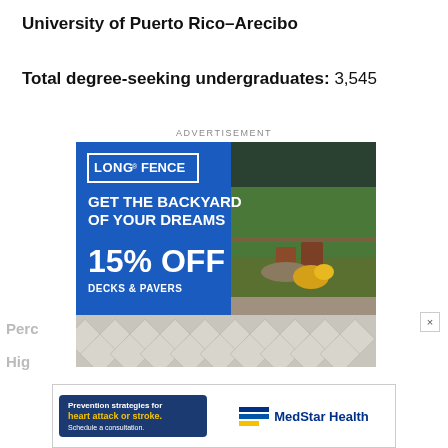University of Puerto Rico–Arecibo
Total degree-seeking undergraduates: 3,545
ADVERTISEMENT
[Figure (photo): Long Fence advertisement: 'Get the Backyard of Your Dreams – 15% Off Decks & Pavers' with backyard patio photo]
[Figure (photo): MedStar Health advertisement: 'Prevention strategies for heart attack or stroke. Schedule a consultation.']